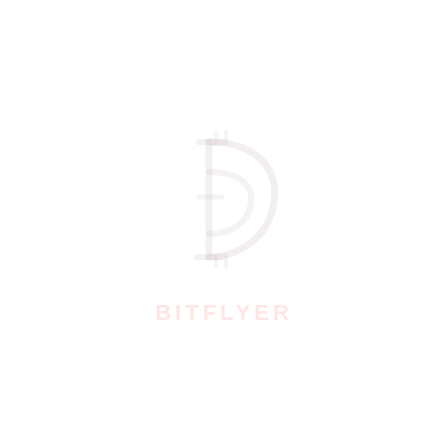[Figure (logo): bitFlyer logo: a white/very light stylized Bitcoin 'B' symbol icon above the text 'BITFLYER' in faint pinkish-white letters, centered on a white background]